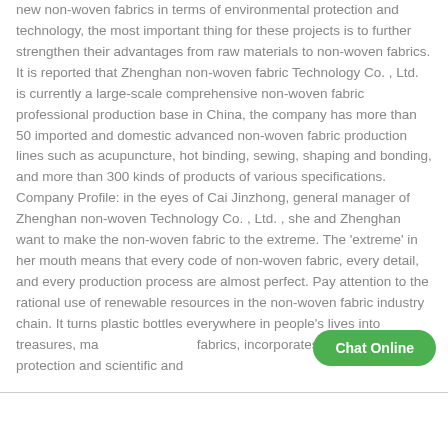new non-woven fabrics in terms of environmental protection and technology, the most important thing for these projects is to further strengthen their advantages from raw materials to non-woven fabrics. It is reported that Zhenghan non-woven fabric Technology Co. , Ltd. is currently a large-scale comprehensive non-woven fabric professional production base in China, the company has more than 50 imported and domestic advanced non-woven fabric production lines such as acupuncture, hot binding, sewing, shaping and bonding, and more than 300 kinds of products of various specifications. Company Profile: in the eyes of Cai Jinzhong, general manager of Zhenghan non-woven Technology Co. , Ltd. , she and Zhenghan want to make the non-woven fabric to the extreme. The 'extreme' in her mouth means that every code of non-woven fabric, every detail, and every production process are almost perfect. Pay attention to the rational use of renewable resources in the non-woven fabric industry chain. It turns plastic bottles everywhere in people's lives into treasures, ma... fabrics, incorporates environmental protection and scientific and